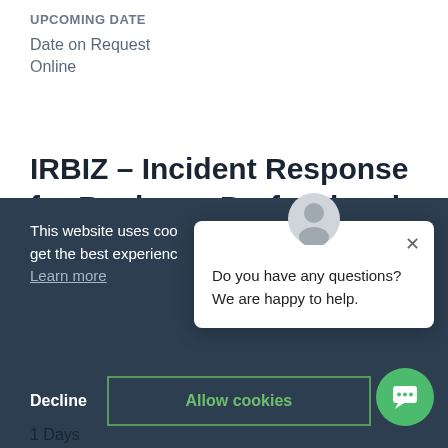UPCOMING DATE
Date on Request
Online
IRBIZ – Incident Response for Business Professionals (Exam IRZ-110)
This website uses cookies to ensure you get the best experience on our website.
Learn more
Decline
Allow cookies
Do you have any questions? We are happy to help.
1 Days